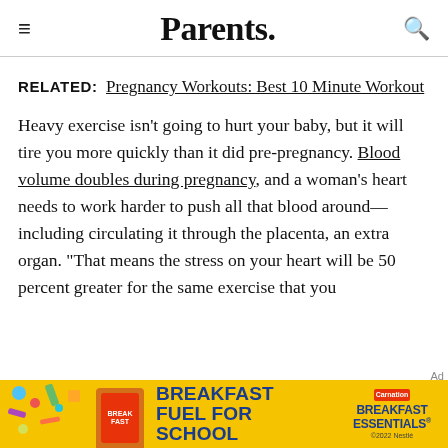Parents.
RELATED: Pregnancy Workouts: Best 10 Minute Workout
Heavy exercise isn't going to hurt your baby, but it will tire you more quickly than it did pre-pregnancy. Blood volume doubles during pregnancy, and a woman's heart needs to work harder to push all that blood around—including circulating it through the placenta, an extra organ. "That means the stress on your heart will be 50 percent greater for the same exercise that you
[Figure (photo): Advertisement banner for Carnation Breakfast Essentials with yellow background, colorful school supplies, and text reading BREAKFAST FUEL FOR SCHOOL]